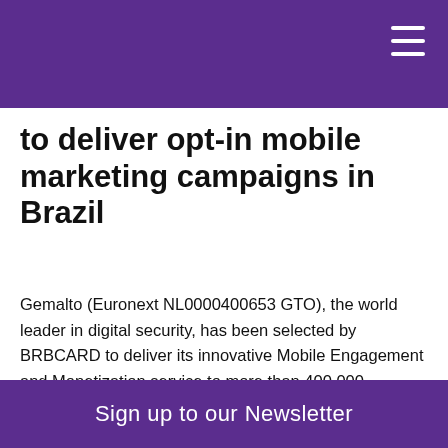to deliver opt-in mobile marketing campaigns in Brazil
Gemalto (Euronext NL0000400653 GTO), the world leader in digital security, has been selected by BRBCARD to deliver its innovative Mobile Engagement and Monetization service to more than 400,000 customers in Brazil. BRBCARD is the card issuance entity directly linked to BRB - Banco de Brasília, an organization controlled by the Federal District government.The innovative smart message channel dramatically improves customer
Sign up to our Newsletter